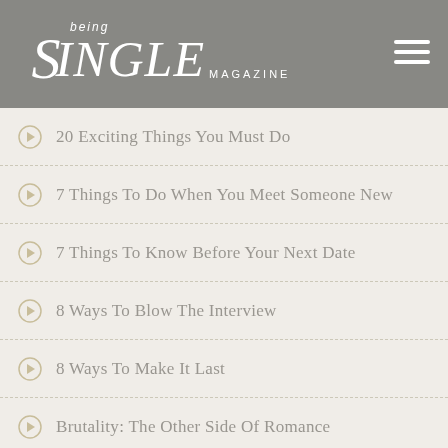being Single MAGAZINE
20 Exciting Things You Must Do
7 Things To Do When You Meet Someone New
7 Things To Know Before Your Next Date
8 Ways To Blow The Interview
8 Ways To Make It Last
Brutality: The Other Side Of Romance
Does He Really Care? Take This Test
How Long Is Too Long To Be A Girlfriend?